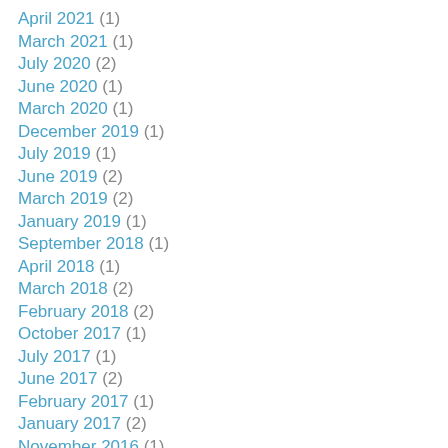April 2021 (1)
March 2021 (1)
July 2020 (2)
June 2020 (1)
March 2020 (1)
December 2019 (1)
July 2019 (1)
June 2019 (2)
March 2019 (2)
January 2019 (1)
September 2018 (1)
April 2018 (1)
March 2018 (2)
February 2018 (2)
October 2017 (1)
July 2017 (1)
June 2017 (2)
February 2017 (1)
January 2017 (2)
November 2016 (1)